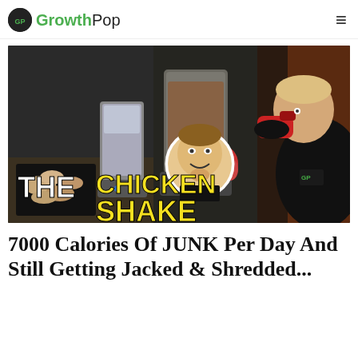GrowthPop
[Figure (photo): Thumbnail image showing blenders with ingredients, a muscular man drinking from a red shaker bottle, a smaller inset photo of a smiling man, and bold text overlay reading 'THE CHICKEN SHAKE' in white and yellow letters.]
7000 Calories Of JUNK Per Day And Still Getting Jacked & Shredded...